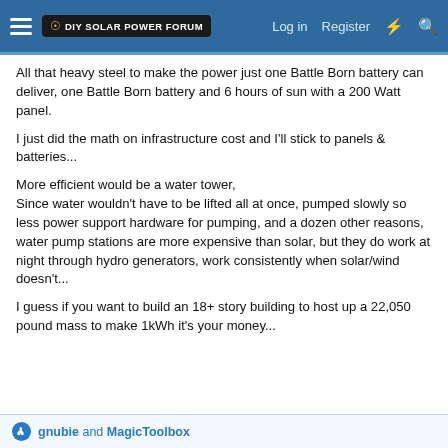DIY Solar Power Forum | Log in | Register
All that heavy steel to make the power just one Battle Born battery can deliver, one Battle Born battery and 6 hours of sun with a 200 Watt panel.
I just did the math on infrastructure cost and I'll stick to panels & batteries...
More efficient would be a water tower, Since water wouldn't have to be lifted all at once, pumped slowly so less power support hardware for pumping, and a dozen other reasons, water pump stations are more expensive than solar, but they do work at night through hydro generators, work consistently when solar/wind doesn't...
I guess if you want to build an 18+ story building to host up a 22,050 pound mass to make 1kWh it's your money...
gnubie and MagicToolbox